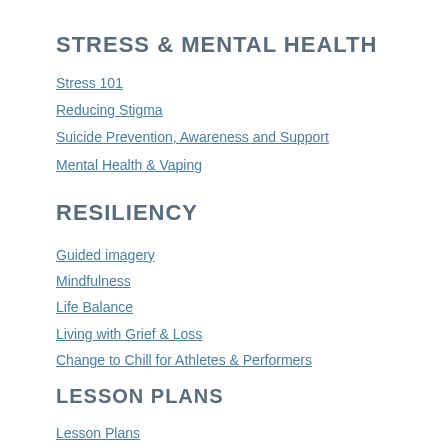STRESS & MENTAL HEALTH
Stress 101
Reducing Stigma
Suicide Prevention, Awareness and Support
Mental Health & Vaping
RESILIENCY
Guided imagery
Mindfulness
Life Balance
Living with Grief & Loss
Change to Chill for Athletes & Performers
LESSON PLANS
Lesson Plans
ACTIVITIES